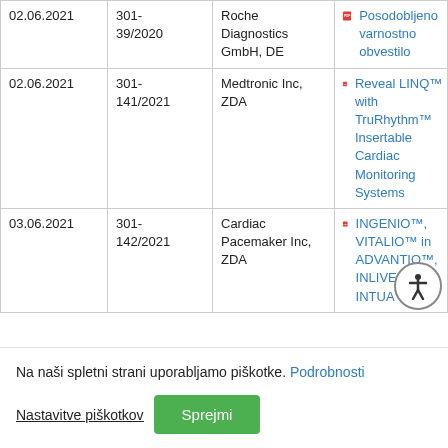| Datum | Številka | Proizvajalec | Dokument |
| --- | --- | --- | --- |
| 02.06.2021 | 301-39/2020 | Roche Diagnostics GmbH, DE | Elecsys CA 19-9 Posodobljeno varnostno obvestilo |
| 02.06.2021 | 301-141/2021 | Medtronic Inc, ZDA | Reveal LINQ™ with TruRhythm™ Insertable Cardiac Monitoring Systems |
| 03.06.2021 | 301-142/2021 | Cardiac Pacemaker Inc, ZDA | INGENIO™, VITALIO™ in ADVANTIO™, INLIVEN™, INTUA™ in |
Na naši spletni strani uporabljamo piškotke. Podrobnosti
Nastavitve piškotkov  Sprejmi